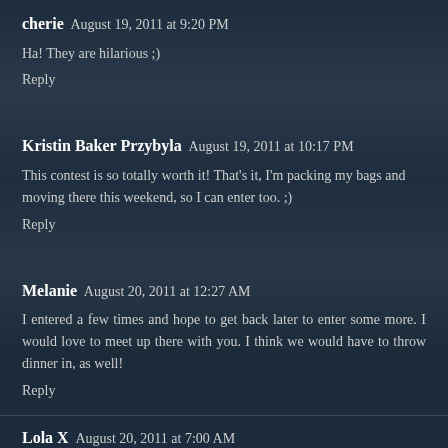cherie  August 19, 2011 at 9:20 PM
Ha! They are hilarious ;)
Reply
Kristin Baker Przybyla  August 19, 2011 at 10:17 PM
This contest is so totally worth it! That's it, I'm packing my bags and moving there this weekend, so I can enter too. ;)
Reply
Melanie  August 20, 2011 at 12:27 AM
I entered a few times and hope to get back later to enter some more. I would love to meet up there with you. I think we would have to throw dinner in, as well!
Reply
Lola X  August 20, 2011 at 7:00 AM